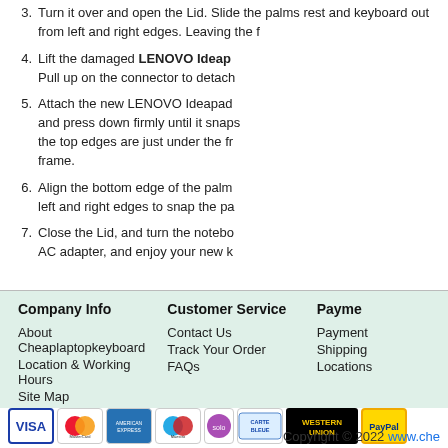3. Turn it over and open the Lid. Slide the palms rest and keyboard out from left and right edges. Leaving the f...
4. Lift the damaged LENOVO Ideap... Pull up on the connector to detach...
5. Attach the new LENOVO Ideapad... and press down firmly until it snaps... the top edges are just under the fr... frame.
6. Align the bottom edge of the palm... left and right edges to snap the pa...
7. Close the Lid, and turn the notebo... AC adapter, and enjoy your new k...
Company Info
About Cheaplaptopkeyboard
Location & Working Hours
Site Map
Customer Service
Contact Us
Track Your Order
FAQs
Payment
Payment...
Shipping...
Locations...
[Figure (logo): Payment method logos: Visa, MasterCard, American Express, Maestro, Solo, Carte Bleue, Western Union, PayPal]
Copyright © 2022 www.che...